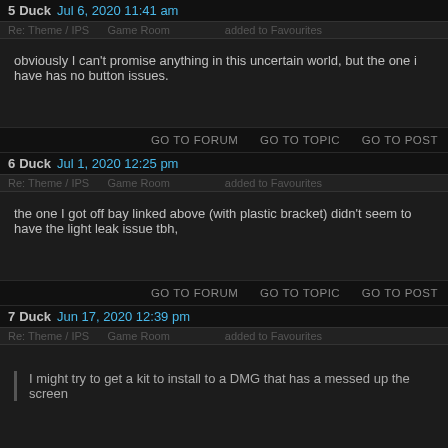5 Duck Jul 6, 2020 11:41 am
obviously I can't promise anything in this uncertain world, but the one i have has no button issues.
GO TO FORUM   GO TO TOPIC   GO TO POST
6 Duck Jul 1, 2020 12:25 pm
the one I got off bay linked above (with plastic bracket) didn't seem to have the light leak issue tbh,
GO TO FORUM   GO TO TOPIC   GO TO POST
7 Duck Jun 17, 2020 12:39 pm
I might try to get a kit to install to a DMG that has a messed up the screen